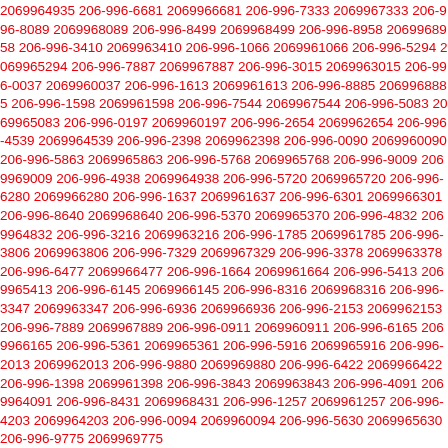2069964935 206-996-6681 2069966681 206-996-7333 2069967333 206-996-8089 2069968089 206-996-8499 2069968499 206-996-8958 2069968958 206-996-3410 2069963410 206-996-1066 2069961066 206-996-5294 2069965294 206-996-7887 2069967887 206-996-3015 2069963015 206-996-0037 2069960037 206-996-1613 2069961613 206-996-8885 2069968885 206-996-1598 2069961598 206-996-7544 2069967544 206-996-5083 2069965083 206-996-0197 2069960197 206-996-2654 2069962654 206-996-4539 2069964539 206-996-2398 2069962398 206-996-0090 2069960090 206-996-5863 2069965863 206-996-5768 2069965768 206-996-9009 2069969009 206-996-4938 2069964938 206-996-5720 2069965720 206-996-6280 2069966280 206-996-1637 2069961637 206-996-6301 2069966301 206-996-8640 2069968640 206-996-5370 2069965370 206-996-4832 2069964832 206-996-3216 2069963216 206-996-1785 2069961785 206-996-3806 2069963806 206-996-7329 2069967329 206-996-3378 2069963378 206-996-6477 2069966477 206-996-1664 2069961664 206-996-5413 2069965413 206-996-6145 2069966145 206-996-8316 2069968316 206-996-3347 2069963347 206-996-6936 2069966936 206-996-2153 2069962153 206-996-7889 2069967889 206-996-0911 2069960911 206-996-6165 2069966165 206-996-5361 2069965361 206-996-5916 2069965916 206-996-2013 2069962013 206-996-9880 2069969880 206-996-6422 2069966422 206-996-1398 2069961398 206-996-3843 2069963843 206-996-4091 2069964091 206-996-8431 2069968431 206-996-1257 2069961257 206-996-4203 2069964203 206-996-0094 2069960094 206-996-5630 2069965630 206-996-9775 2069969775